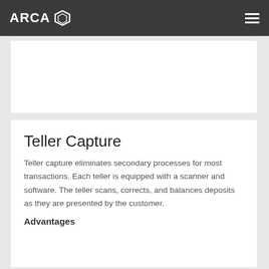ARCA
Teller Capture
Teller capture eliminates secondary processes for most transactions. Each teller is equipped with a scanner and software. The teller scans, corrects, and balances deposits as they are presented by the customer.
Advantages